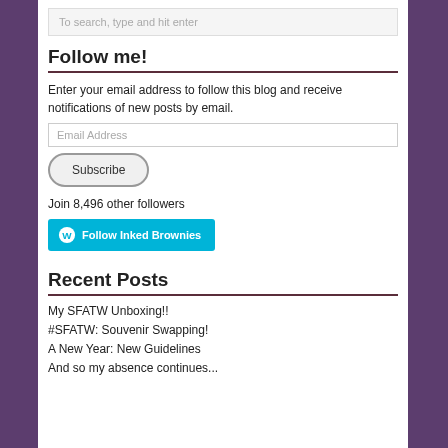To search, type and hit enter
Follow me!
Enter your email address to follow this blog and receive notifications of new posts by email.
Email Address
Subscribe
Join 8,496 other followers
[Figure (other): Follow Inked Brownies WordPress follow button]
Recent Posts
My SFATW Unboxing!!
#SFATW: Souvenir Swapping!
A New Year: New Guidelines
And so my absence continues...